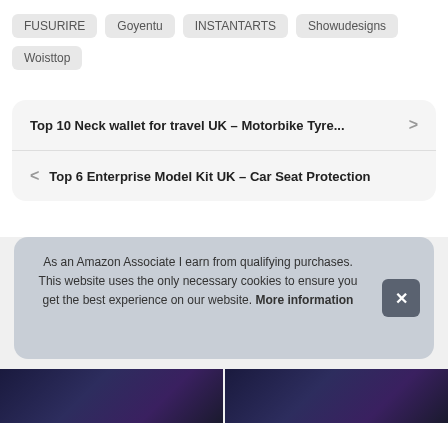FUSURIRE
Goyentu
INSTANTARTS
Showudesigns
Woisttop
Top 10 Neck wallet for travel UK – Motorbike Tyre...
Top 6 Enterprise Model Kit UK – Car Seat Protection
As an Amazon Associate I earn from qualifying purchases. This website uses the only necessary cookies to ensure you get the best experience on our website. More information